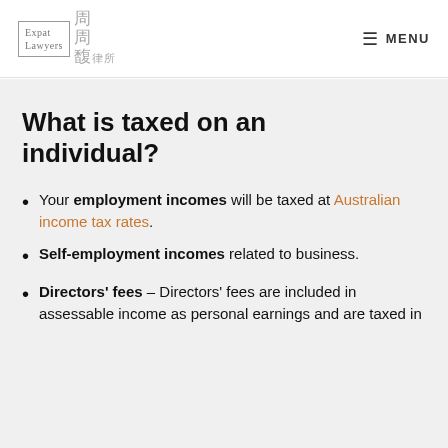Expat Lawyers | MENU
What is taxed on an individual?
Your employment incomes will be taxed at Australian income tax rates.
Self-employment incomes related to business.
Directors' fees – Directors' fees are included in assessable income as personal earnings and are taxed in